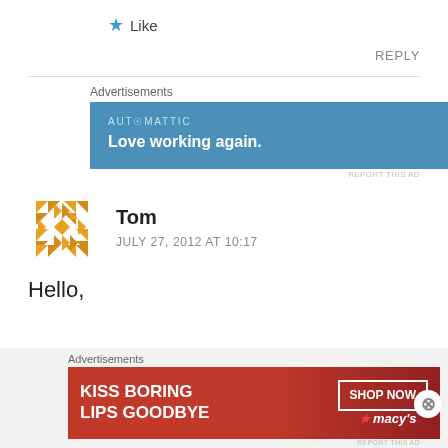★ Like
REPLY
Advertisements
[Figure (screenshot): Automattic blue advertisement banner with text 'AUTOMATTIC' and 'Love working again.']
REPORT THIS AD
[Figure (illustration): Orange geometric quilt-pattern avatar for commenter Tom]
Tom
JULY 27, 2012 AT 10:17
Hello,
Advertisements
[Figure (screenshot): Macy's red advertisement banner with text 'KISS BORING LIPS GOODBYE' and 'SHOP NOW ★ macy's']